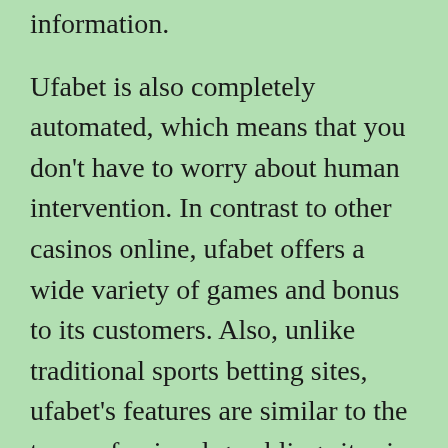information.
Ufabet is also completely automated, which means that you don’t have to worry about human intervention. In contrast to other casinos online, ufabet offers a wide variety of games and bonus to its customers. Also, unlike traditional sports betting sites, ufabet’s features are similar to the top professional gambling sites in the United States. You can play slot machines or blackjack, as well as poker, and even win big!
It offers loyalty bonuses
Sign up with Ufabet to get enormous bonuses. To encourage players and depositors, the